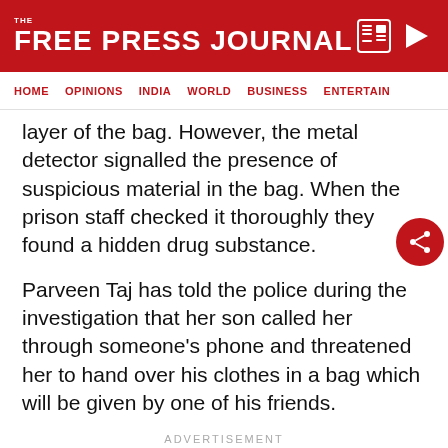THE FREE PRESS JOURNAL
HOME  OPINIONS  INDIA  WORLD  BUSINESS  ENTERTAIN
layer of the bag. However, the metal detector signalled the presence of suspicious material in the bag. When the prison staff checked it thoroughly they found a hidden drug substance.
Parveen Taj has told the police during the investigation that her son called her through someone's phone and threatened her to hand over his clothes in a bag which will be given by one of his friends.
ADVERTISEMENT